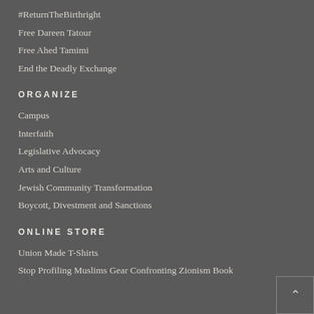#ReturnTheBirthright
Free Dareen Tatour
Free Ahed Tamimi
End the Deadly Exchange
ORGANIZE
Campus
Interfaith
Legislative Advocacy
Arts and Culture
Jewish Community Transformation
Boycott, Divestment and Sanctions
ONLINE STORE
Union Made T-Shirts
Stop Profiling Muslims Gear Confronting Zionism Book